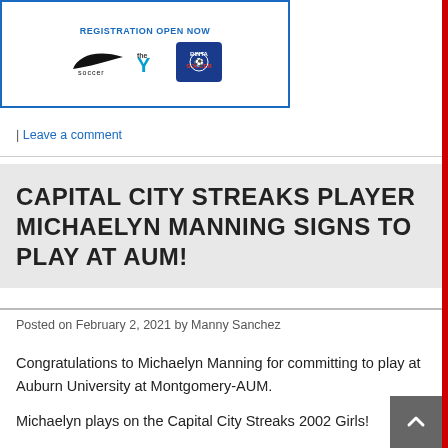[Figure (illustration): Advertisement banner with blue border showing 'REGISTRATION OPEN NOW' text and logos for Nike Soccer, the YMCA, and Binta Soccer]
| Leave a comment
CAPITAL CITY STREAKS PLAYER MICHAELYN MANNING SIGNS TO PLAY AT AUM!
Posted on February 2, 2021 by Manny Sanchez
Congratulations to Michaelyn Manning for committing to play at Auburn University at Montgomery-AUM.
Michaelyn plays on the Capital City Streaks 2002 Girls!
Michaelyn's commitment, passion, and technical ability has set her apart as a striker and has gotten her to this point. The C…